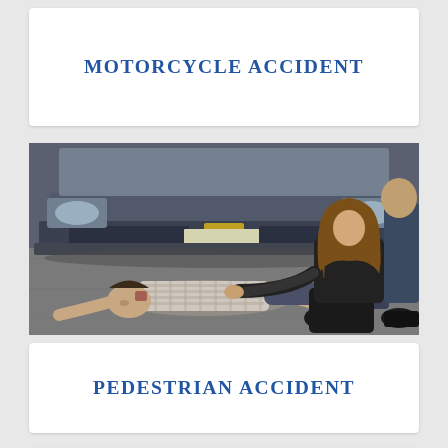MOTORCYCLE ACCIDENT
[Figure (photo): A man lying face down on pavement after being struck by a vehicle. A woman in black clothing is kneeling beside him, checking on the injured man. The front bumper of a dark-colored car is visible in the background.]
PEDESTRIAN ACCIDENT